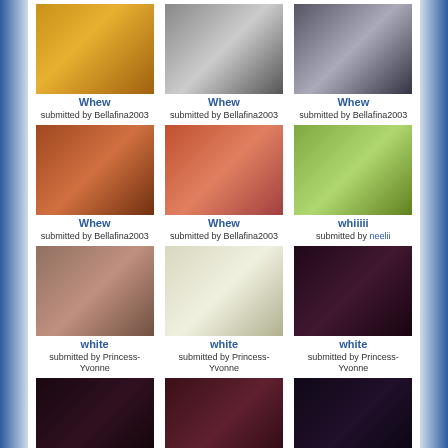[Figure (photo): Photo row 1 col 1 - person in gold jacket]
Whew
submitted by Bellafina2003
[Figure (photo): Photo row 1 col 2 - black and white portrait]
Whew
submitted by Bellafina2003
[Figure (photo): Photo row 1 col 3 - partial photo]
Whew
submitted by Bellafina2003
[Figure (photo): Photo row 2 col 1 - group with mascot]
Whew
submitted by Bellafina2003
[Figure (photo): Photo row 2 col 2 - person with child]
Whew
submitted by Bellafina2003
[Figure (photo): Photo row 2 col 3 - outdoor skateboarding]
whiiiii
submitted by neelii
[Figure (photo): Photo row 3 col 1 - person in white]
white
submitted by Princess-Yvonne
[Figure (photo): Photo row 3 col 2 - person in white suit with award]
white
submitted by Princess-Yvonne
[Figure (photo): Photo row 3 col 3 - person at ROC HAL event]
white
submitted by Princess-Yvonne
[Figure (photo): Photo row 4 col 1 - dark photo]
[Figure (photo): Photo row 4 col 2 - dark photo]
[Figure (photo): Photo row 4 col 3 - dark photo]